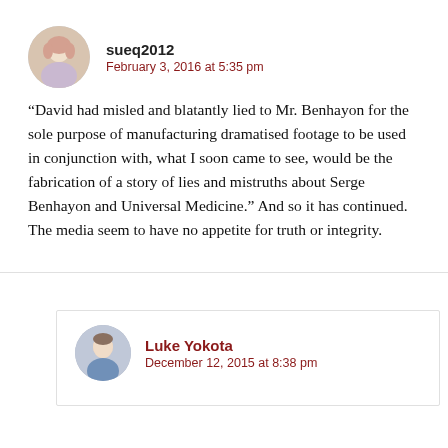sueq2012
February 3, 2016 at 5:35 pm
“David had misled and blatantly lied to Mr. Benhayon for the sole purpose of manufacturing dramatised footage to be used in conjunction with, what I soon came to see, would be the fabrication of a story of lies and mistruths about Serge Benhayon and Universal Medicine.” And so it has continued. The media seem to have no appetite for truth or integrity.
Luke Yokota
December 12, 2015 at 8:38 pm